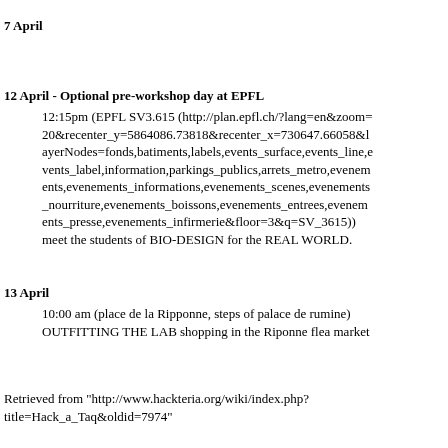7 April
12 April - Optional pre-workshop day at EPFL
12:15pm (EPFL SV3.615 (http://plan.epfl.ch/?lang=en&zoom=20&recenter_y=5864086.73818&recenter_x=730647.66058&layerNodes=fonds,batiments,labels,events_surface,events_line,events_label,information,parkings_publics,arrets_metro,evenements,evenements_informations,evenements_scenes,evenements_nourriture,evenements_boissons,evenements_entrees,evenements_presse,evenements_infirmerie&floor=3&q=SV_3615)) meet the students of BIO-DESIGN for the REAL WORLD.
13 April
10:00 am (place de la Ripponne, steps of palace de rumine) OUTFITTING THE LAB shopping in the Riponne flea market
Retrieved from "http://www.hackteria.org/wiki/index.php?title=Hack_a_Taq&oldid=7974"